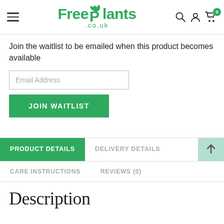[Figure (logo): FreePlants.co.uk logo with green leaf icon, hamburger menu, search, user, and cart icons with badge showing 0]
Join the waitlist to be emailed when this product becomes available
[Figure (screenshot): Email Address input field]
[Figure (screenshot): JOIN WAITLIST green button]
[Figure (screenshot): Tab navigation: PRODUCT DETAILS (active, green), DELIVERY DETAILS, up arrow button, CARE INSTRUCTIONS, REVIEWS (0)]
Description